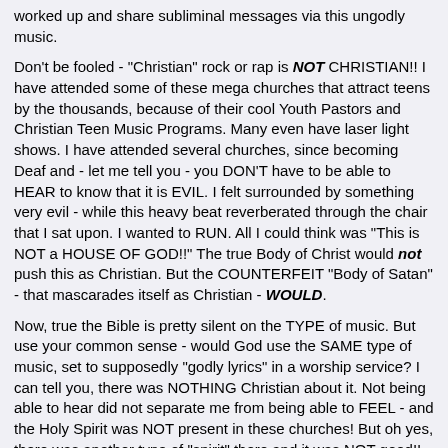worked up and share subliminal messages via this ungodly music.
Don't be fooled - "Christian" rock or rap is NOT CHRISTIAN!! I have attended some of these mega churches that attract teens by the thousands, because of their cool Youth Pastors and Christian Teen Music Programs. Many even have laser light shows. I have attended several churches, since becoming Deaf and - let me tell you - you DON'T have to be able to HEAR to know that it is EVIL. I felt surrounded by something very evil - while this heavy beat reverberated through the chair that I sat upon. I wanted to RUN. All I could think was "This is NOT a HOUSE OF GOD!!" The true Body of Christ would not push this as Christian. But the COUNTERFEIT "Body of Satan" - that mascarades itself as Christian - WOULD.
Now, true the Bible is pretty silent on the TYPE of music. But use your common sense - would God use the SAME type of music, set to supposedly "godly lyrics" in a worship service? I can tell you, there was NOTHING Christian about it. Not being able to hear did not separate me from being able to FEEL - and the Holy Spirit was NOT present in these churches! But oh yes, there was another type of "spirit" there and it was NOT good!!